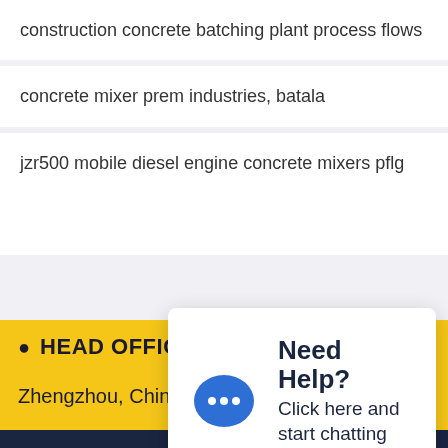construction concrete batching plant process flows
concrete mixer prem industries, batala
jzr500 mobile diesel engine concrete mixers pflg
[Figure (screenshot): Need Help? chat popup with blue speech bubble icon. Text: 'Need Help? Click here and start chatting with us!']
HEAD OFFICE
Zhengzhou, China
Hey, we are live 24/7. How may I help you?